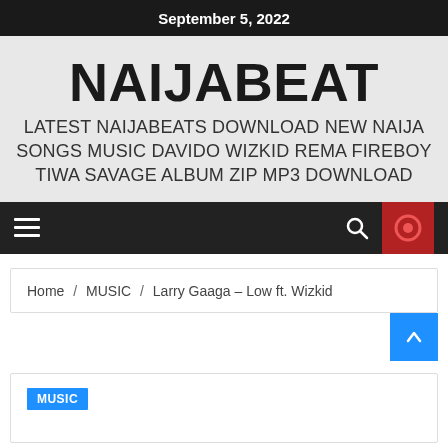September 5, 2022
NAIJABEAT
LATEST NAIJABEATS DOWNLOAD NEW NAIJA SONGS MUSIC DAVIDO WIZKID REMA FIREBOY TIWA SAVAGE ALBUM ZIP MP3 DOWNLOAD
[Figure (screenshot): Navigation bar with hamburger menu icon, search icon, and red circular record/stop button]
Home / MUSIC / Larry Gaaga – Low ft. Wizkid
MUSIC